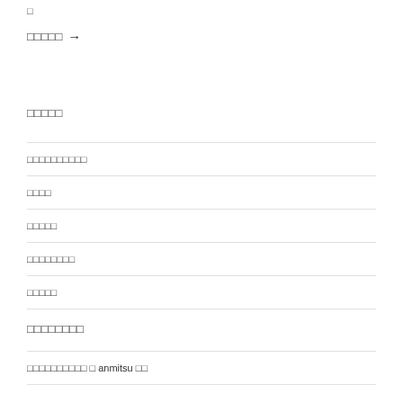□
□□□□□ →
□□□□□
□□□□□□□□□□
□□□□
□□□□□
□□□□□□□□
□□□□□
□□□□□□□□
□□□□□□□□□□ □ anmitsu □□